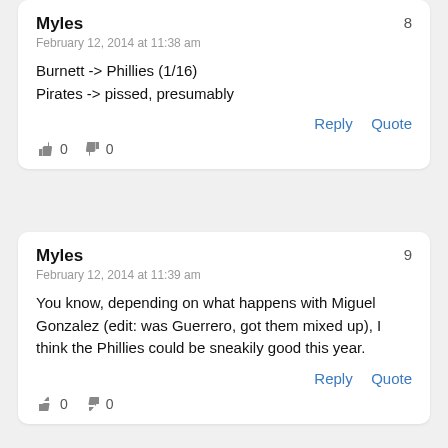Myles
February 12, 2014 at 11:38 am
Burnett -> Phillies (1/16)
Pirates -> pissed, presumably
Reply  Quote
👍 0  👎 0
Myles
February 12, 2014 at 11:39 am
You know, depending on what happens with Miguel Gonzalez (edit: was Guerrero, got them mixed up), I think the Phillies could be sneakily good this year.
Reply  Quote
👍 0  👎 0